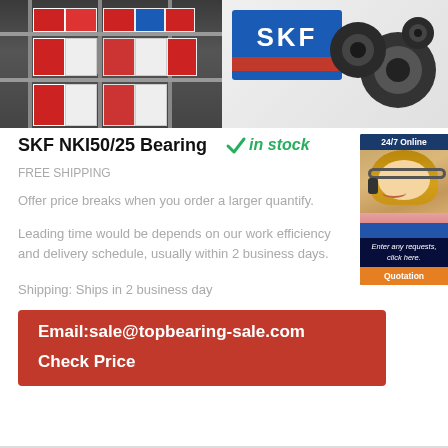[Figure (photo): Warehouse shelves with SKF bearing boxes on the left; SKF branded box and ball bearings on the right]
SKF NKI50/25 Bearing  ✓ in stock
FREE SHIPPING
Offer price breaks when you order a larger quantify.
Leading time would be depends on our work efficiency and delivery schedule, usually within 2 business days.
Shipping: Ships in 2 business day
Email:sale@topbearing-sale.com
Check Price
[Figure (photo): 24/7 Online customer service representative with headset, with Enter any requests click here and Quotation button]